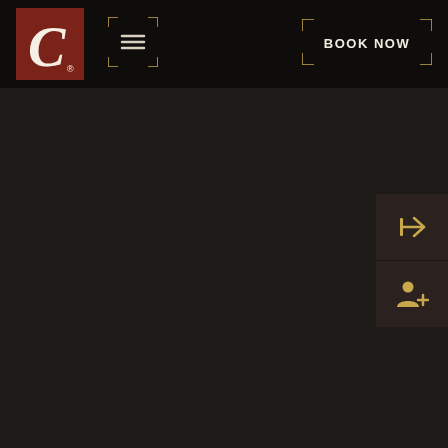[Figure (logo): Cursive C letter on dark red/brown square background with registered trademark symbol - hotel or hospitality brand logo]
[Figure (screenshot): Hamburger menu button with golden corner bracket border decoration]
BOOK NOW
[Figure (screenshot): Sign-in arrow icon button on dark sidebar panel]
[Figure (screenshot): Add user/register icon button on dark sidebar panel]